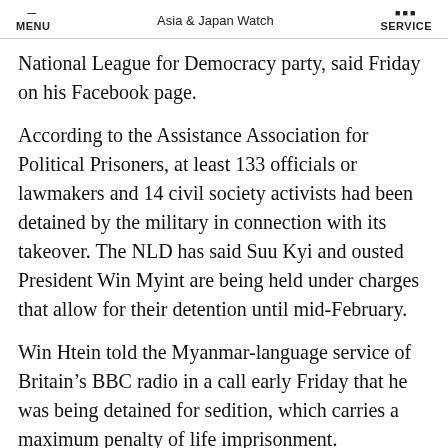MENU | Asia & Japan Watch | SERVICE
National League for Democracy party, said Friday on his Facebook page.
According to the Assistance Association for Political Prisoners, at least 133 officials or lawmakers and 14 civil society activists had been detained by the military in connection with its takeover. The NLD has said Suu Kyi and ousted President Win Myint are being held under charges that allow for their detention until mid-February.
Win Htein told the Myanmar-language service of Britain's BBC radio in a call early Friday that he was being detained for sedition, which carries a maximum penalty of life imprisonment.
“They don’t like what I’ve been talking about. They are afraid of what I’m saying,” he told the BBC.